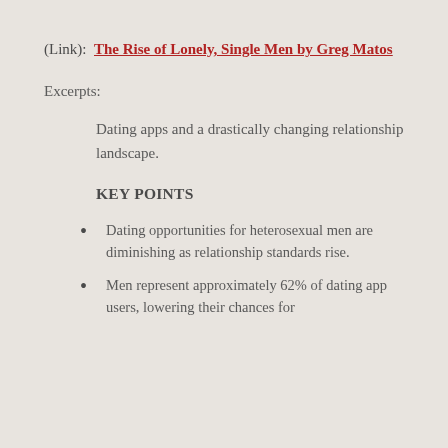(Link):  The Rise of Lonely, Single Men by Greg Matos
Excerpts:
Dating apps and a drastically changing relationship landscape.
KEY POINTS
Dating opportunities for heterosexual men are diminishing as relationship standards rise.
Men represent approximately 62% of dating app users, lowering their chances for